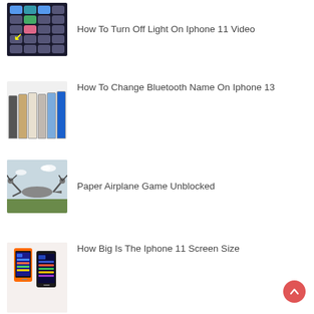How To Turn Off Light On Iphone 11 Video
How To Change Bluetooth Name On Iphone 13
Paper Airplane Game Unblocked
How Big Is The Iphone 11 Screen Size